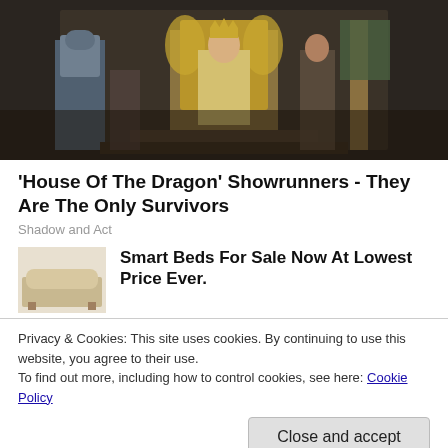[Figure (photo): Scene from 'House of the Dragon' showing a king seated on an elaborate throne flanked by armored knights and courtiers in a grand hall]
'House Of The Dragon' Showrunners - They Are The Only Survivors
Shadow and Act
Smart Beds For Sale Now At Lowest Price Ever.
Privacy & Cookies: This site uses cookies. By continuing to use this website, you agree to their use.
To find out more, including how to control cookies, see here: Cookie Policy
Close and accept
interest loans, deferred